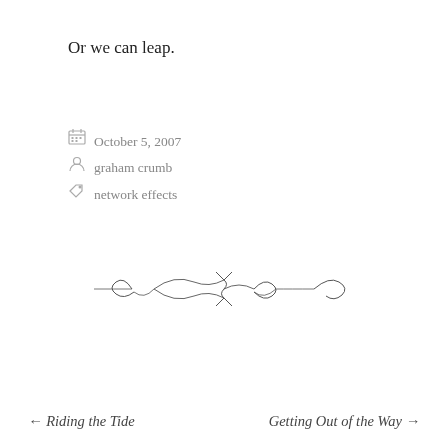Or we can leap.
October 5, 2007
graham crumb
network effects
[Figure (illustration): Decorative ornamental divider with curling flourishes and a bow/knot in the center]
← Riding the Tide    Getting Out of the Way →